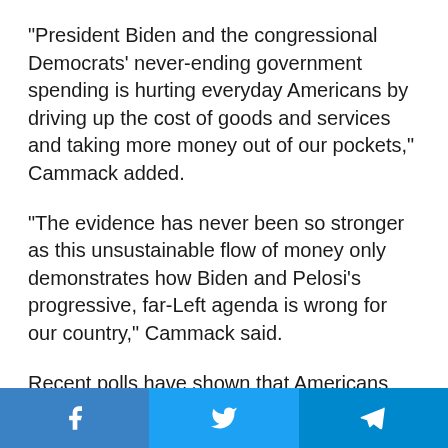“President Biden and the congressional Democrats’ never-ending government spending is hurting everyday Americans by driving up the cost of goods and services and taking more money out of our pockets,” Cammack added.
“The evidence has never been so stronger as this unsustainable flow of money only demonstrates how Biden and Pelosi’s progressive, far-Left agenda is wrong for our country,” Cammack said.
Recent polls have shown that Americans are beginning to lose faith in Biden’s ability to navigate the country through the pandemic recovery.
[Figure (infographic): Social media share buttons: Facebook (blue), Twitter (light blue), Telegram (dark blue)]